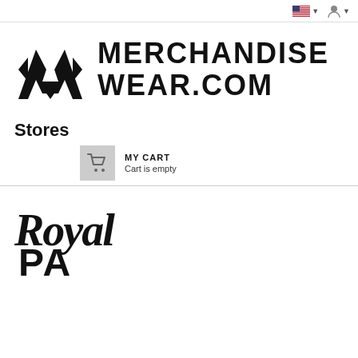[Figure (logo): US flag icon with dropdown arrow]
[Figure (logo): User account icon with dropdown arrow]
[Figure (logo): MerchandiseWear.com logo with stylized M icon and bold text MERCHANDISE WEAR.COM]
Stores
[Figure (infographic): MY CART widget with shopping cart icon on grey background, text MY CART and Cart is empty]
[Figure (logo): Royal Patch script logo in bold black lettering, partially cropped]